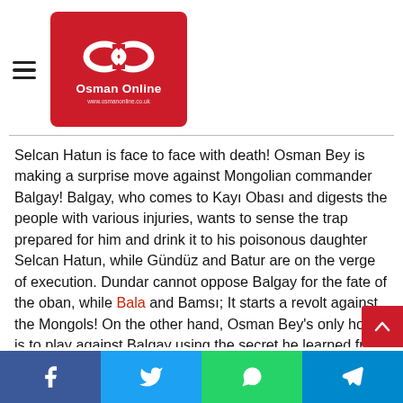Osman Online
Selcan Hatun is face to face with death! Osman Bey is making a surprise move against Mongolian commander Balgay! Balgay, who comes to Kayı Obası and digests the people with various injuries, wants to sense the trap prepared for him and drink it to his poisonous daughter Selcan Hatun, while Gündüz and Batur are on the verge of execution. Dundar cannot oppose Balgay for the fate of the oban, while Bala and Bamsı; It starts a revolt against the Mongols! On the other hand, Osman Bey's only hope is to play against Balgay using the secret he learned from the Ak Sakallı and the relics he received. Will Selcan Hatun die? Can Samsa Sergeant and alps survive bondage? Will Gündüz and Batur be executed?